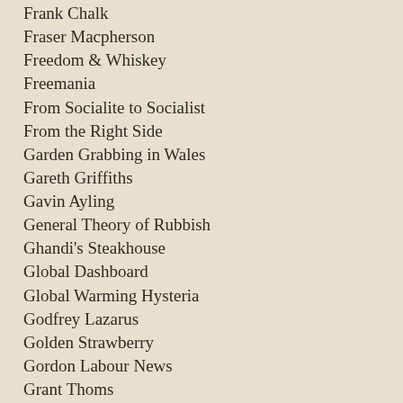Frank Chalk
Fraser Macpherson
Freedom & Whiskey
Freemania
From Socialite to Socialist
From the Right Side
Garden Grabbing in Wales
Gareth Griffiths
Gavin Ayling
General Theory of Rubbish
Ghandi's Steakhouse
Global Dashboard
Global Warming Hysteria
Godfrey Lazarus
Golden Strawberry
Gordon Labour News
Grant Thoms
Guido Fawkes
Guildford Lib Dems - halve truths and lies
GUTHRUM
Guy Burton
Gweirdo
Harriet Harman MP